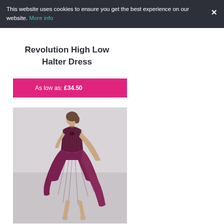This website uses cookies to ensure you get the best experience on our website. More info ×
Revolution High Low Halter Dress
As low as: £34.50
[Figure (photo): A model wearing a dark burgundy/maroon high-low halter dress with sequin bodice, posing dynamically against a light grey background.]